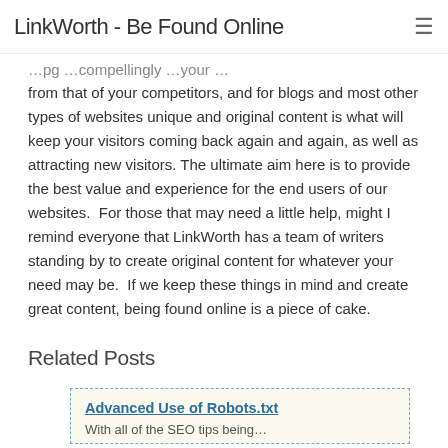LinkWorth - Be Found Online
from that of your competitors, and for blogs and most other types of websites unique and original content is what will keep your visitors coming back again and again, as well as attracting new visitors. The ultimate aim here is to provide the best value and experience for the end users of our websites.  For those that may need a little help, might I remind everyone that LinkWorth has a team of writers standing by to create original content for whatever your need may be.  If we keep these things in mind and create great content, being found online is a piece of cake.
Related Posts
Advanced Use of Robots.txt
With all of the SEO tips being...